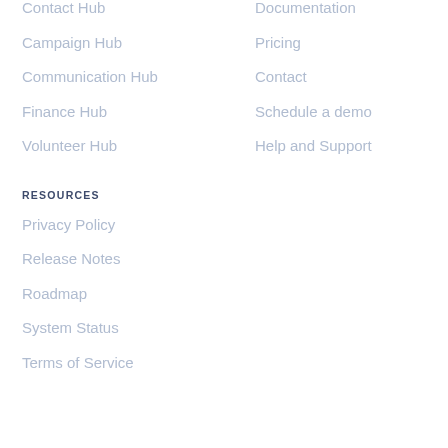Contact Hub
Documentation
Campaign Hub
Pricing
Communication Hub
Contact
Finance Hub
Schedule a demo
Volunteer Hub
Help and Support
RESOURCES
Privacy Policy
Release Notes
Roadmap
System Status
Terms of Service